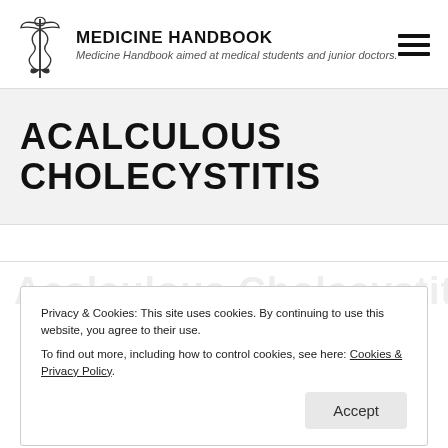MEDICINE HANDBOOK
Medicine Handbook aimed at medical students and junior doctors.
ACALCULOUS CHOLECYSTITIS
Privacy & Cookies: This site uses cookies. By continuing to use this website, you agree to their use.
To find out more, including how to control cookies, see here: Cookies & Privacy Policy